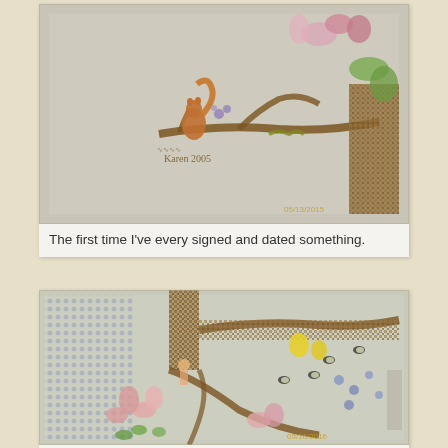[Figure (photo): Close-up photograph of a cross-stitch embroidery piece showing a squirrel and floral motifs on cream fabric, with embroidered signature 'Karen 2005' visible and a date stamp '05/13/2015' in bottom right corner.]
The first time I've every signed and dated something.
[Figure (photo): Close-up photograph of a cross-stitch embroidery piece showing a tree with bees, pink and purple flowers, and decorative floral motifs on cream fabric, with a date stamp '05/16/2016' in bottom right corner.]